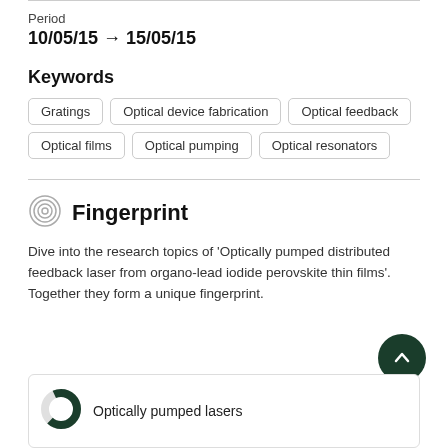Period
10/05/15 → 15/05/15
Keywords
Gratings
Optical device fabrication
Optical feedback
Optical films
Optical pumping
Optical resonators
Fingerprint
Dive into the research topics of 'Optically pumped distributed feedback laser from organo-lead iodide perovskite thin films'. Together they form a unique fingerprint.
Optically pumped lasers